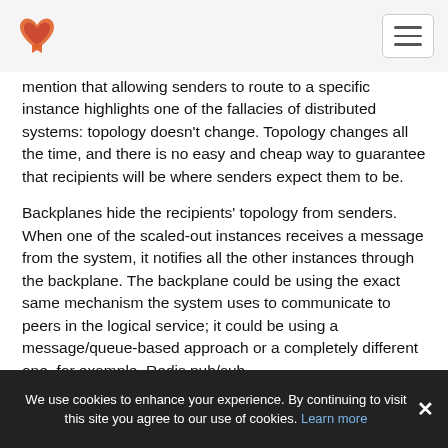[Figure (logo): Red and orange heart-shaped logo icon]
mention that allowing senders to route to a specific instance highlights one of the fallacies of distributed systems: topology doesn't change. Topology changes all the time, and there is no easy and cheap way to guarantee that recipients will be where senders expect them to be.
Backplanes hide the recipients' topology from senders. When one of the scaled-out instances receives a message from the system, it notifies all the other instances through the backplane. The backplane could be using the exact same mechanism the system uses to communicate to peers in the logical service; it could be using a message/queue-based approach or a completely different one, for example, Redis pub/sub.
We use cookies to enhance your experience. By continuing to visit this site you agree to our use of cookies. Learn more